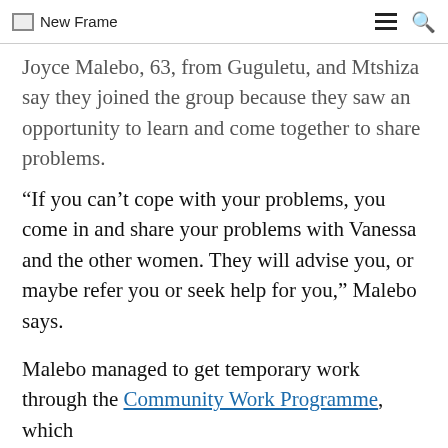New Frame
Joyce Malebo, 63, from Guguletu, and Mtshiza say they joined the group because they saw an opportunity to learn and come together to share problems.
“If you can’t cope with your problems, you come in and share your problems with Vanessa and the other women. They will advise you, or maybe refer you or seek help for you,” Malebo says.
Malebo managed to get temporary work through the Community Work Programme, which